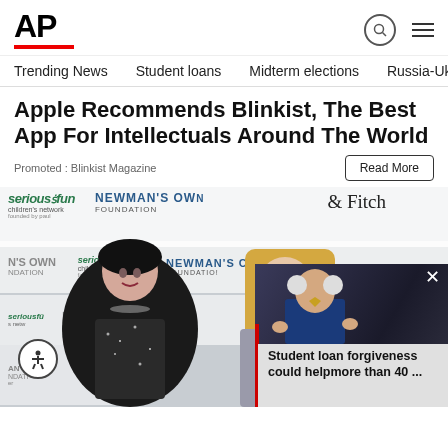AP
Trending News   Student loans   Midterm elections   Russia-Ukr
Apple Recommends Blinkist, The Best App For Intellectuals Around The World
Promoted : Blinkist Magazine
Read More
[Figure (photo): Woman in black outfit at seriousFun / Newman's Own Foundation event backdrop, with a partial overlay of a second blonde woman. A video overlay shows a man in blue suit speaking, with caption 'Student loan forgiveness could help more than 40 ...']
Student loan forgiveness could helpmore than 40 ...